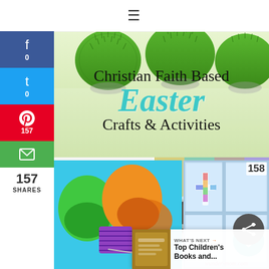☰
[Figure (photo): Main banner: Christian Faith Based Easter Crafts and Activities with grass balls at top, overlaid text title]
Christian Faith Based Easter Crafts & Activities
[Figure (photo): Colorful puzzle piece cross craft on white background]
[Figure (photo): Garden scene with cross, dirt, pebbles, and colorful background]
[Figure (photo): Easter eggs (green and orange) opened with purple zebra fabric and small charms on blue background]
[Figure (photo): Window cling activity with cross shape on light blue window]
157 SHARES
158
WHAT'S NEXT → Top Children's Books and...
wunder-mom.com